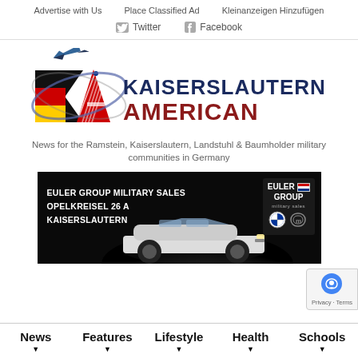Advertise with Us   Place Classified Ad   Kleinanzeigen Hinzufügen
Twitter   Facebook
[Figure (logo): Kaiserslautern American newspaper logo with KA initials in German and American flag colors, fighter jet graphic, and text KAISERSLAUTERN AMERICAN in dark blue and red]
News for the Ramstein, Kaiserslautern, Landstuhl & Baumholder military communities in Germany
[Figure (photo): Euler Group Military Sales advertisement banner with white BMW car on dark background. Text: EULER GROUP MILITARY SALES OPELKREISEL 26 A KAISERSLAUTERN. Euler Group logo with US flag, BMW and MINI logos on right side.]
News   Features   Lifestyle   Health   Schools